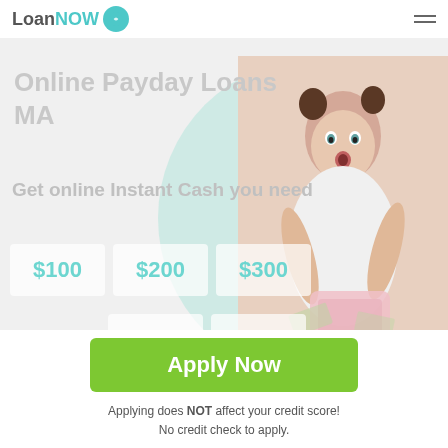LoanNOW
Online Payday Loans MA
Get online Instant Cash you need
$100
$200
$300
$500
$1000
OR
[Figure (photo): Woman holding a piggy bank with surprised expression, positioned on right side of hero banner]
Apply Now
Applying does NOT affect your credit score!
No credit check to apply.